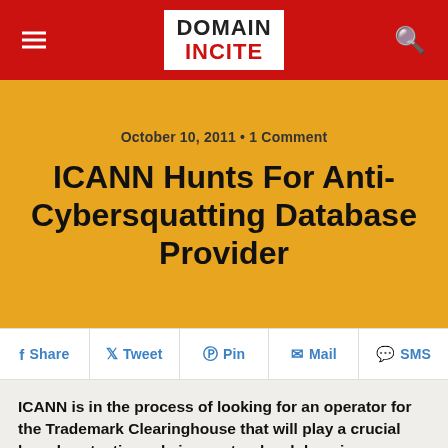DOMAIN INCITE
October 10, 2011 • 1 Comment
ICANN Hunts For Anti-Cybersquatting Database Provider
Share  Tweet  Pin  Mail  SMS
ICANN is in the process of looking for an operator for the Trademark Clearinghouse that will play a crucial brand protection role in new top-level domains.
An RFI published last week says that ICANN is looking